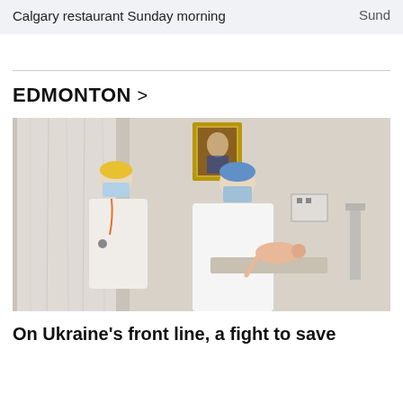Calgary restaurant Sunday morning	Sund
EDMONTON >
[Figure (photo): Two medical workers in scrubs, masks, and hair covers attend to a newborn baby on a examination table in a hospital room. A religious icon painting hangs on the wall in the background. White lace curtains are visible on the left.]
On Ukraine's front line, a fight to save